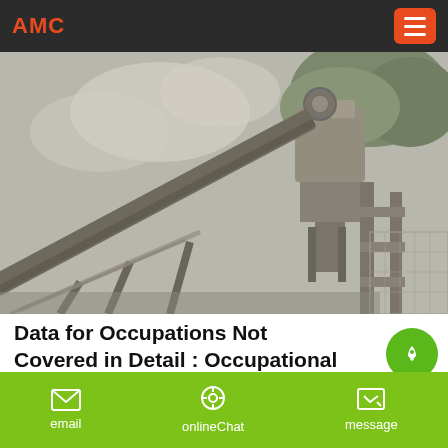AMC
[Figure (photo): Industrial mining/quarrying equipment: conveyor belt system with crusher machinery, dusty/smoky environment, metal framework structures]
Data for Occupations Not Covered in Detail : Occupational ...
Apr 12, 2021· Production occupations, First-line supervisors of
email  onlineChat  message